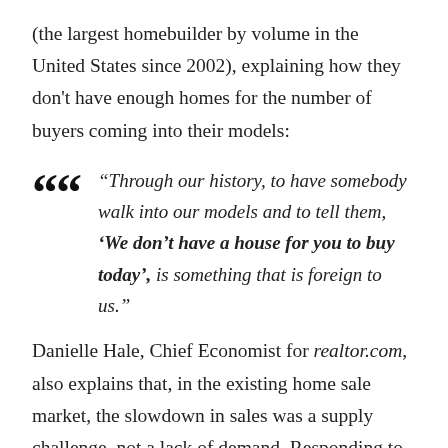(the largest homebuilder by volume in the United States since 2002), explaining how they don't have enough homes for the number of buyers coming into their models:
“Through our history, to have somebody walk into our models and to tell them, ‘We don’t have a house for you to buy today’, is something that is foreign to us.”
Danielle Hale, Chief Economist for realtor.com, also explains that, in the existing home sale market, the slowdown in sales was a supply challenge, not a lack of demand. Responding to a recent uptick in listings